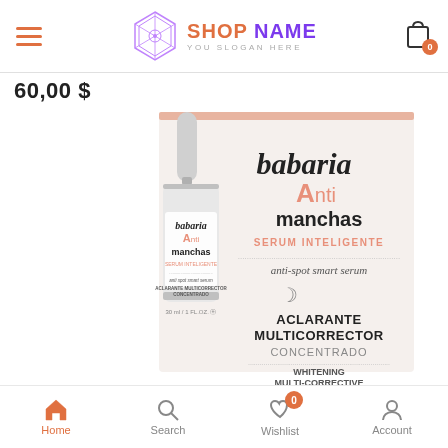Shop Name — You Slogan Here
60,00 $
[Figure (photo): Babaria Anti Manchas Serum Inteligente product photo showing dropper bottle and box packaging. Box reads: babaria, Anti manchas, SERUM INTELIGENTE, anti-spot smart serum, crescent moon icon, ACLARANTE MULTICORRECTOR CONCENTRADO, WHITENING MULTI-CORRECTIVE CONCENTRATE. Bottle label reads: babaria, Anti manchas, SERUM INTELIGENTE, anti spot smart serum, ACLARANTE MULTICORRECTOR CONCENTRADO, 30 ml / 1 FL.OZ.]
Home  Search  Wishlist  Account